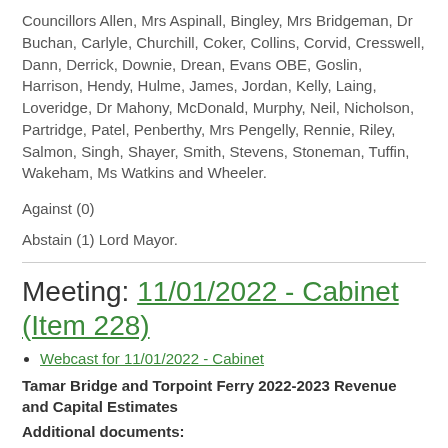Councillors Allen, Mrs Aspinall, Bingley, Mrs Bridgeman, Dr Buchan, Carlyle, Churchill, Coker, Collins, Corvid, Cresswell, Dann, Derrick, Downie, Drean, Evans OBE, Goslin, Harrison, Hendy, Hulme, James, Jordan, Kelly, Laing, Loveridge, Dr Mahony, McDonald, Murphy, Neil, Nicholson, Partridge, Patel, Penberthy, Mrs Pengelly, Rennie, Riley, Salmon, Singh, Shayer, Smith, Stevens, Stoneman, Tuffin, Wakeham, Ms Watkins and Wheeler.
Against (0)
Abstain (1) Lord Mayor.
Meeting: 11/01/2022 - Cabinet (Item 228)
Webcast for 11/01/2022 - Cabinet
Tamar Bridge and Torpoint Ferry 2022-2023 Revenue and Capital Estimates
Additional documents: